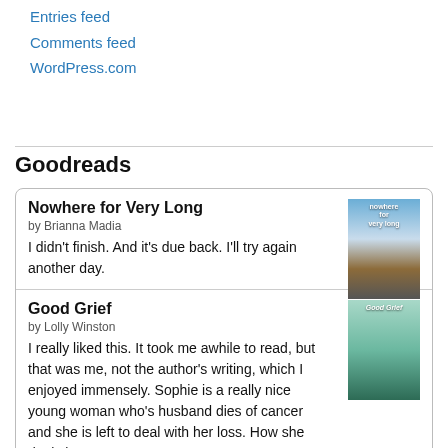Entries feed
Comments feed
WordPress.com
Goodreads
Nowhere for Very Long
by Brianna Madia
I didn't finish. And it's due back. I'll try again another day.
Good Grief
by Lolly Winston
I really liked this. It took me awhile to read, but that was me, not the author's writing, which I enjoyed immensely. Sophie is a really nice young woman who's husband dies of cancer and she is left to deal with her loss. How she deals i...
The Unsinkable Greta James
by Jennifer E. Smith
I've only read a few books this entire year. This is one of the